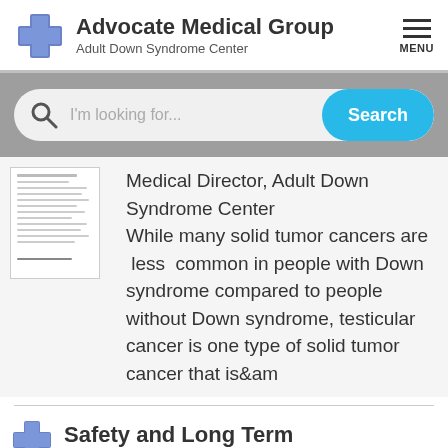Advocate Medical Group Adult Down Syndrome Center
[Figure (screenshot): Search bar with magnifying glass icon, placeholder text 'I'm looking for...' and a cyan 'Search' button]
Medical Director, Adult Down Syndrome Center
While many solid tumor cancers are  less  common in people with Down syndrome compared to people without Down syndrome, testicular cancer is one type of solid tumor cancer that is&am
[Figure (other): Small thumbnail image of a document page]
Safety and Long Term